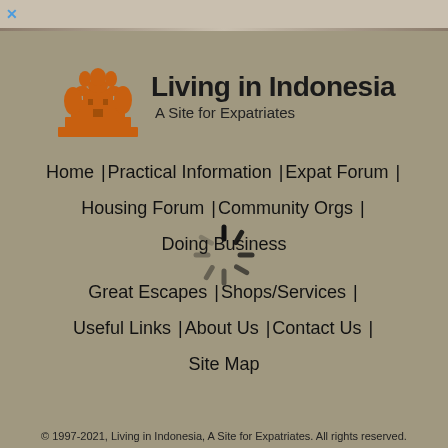[Figure (logo): Living in Indonesia website logo with Borobudur/temple icon in orange-brown and site title text]
Home | Practical Information | Expat Forum | Housing Forum | Community Orgs | Doing Business
Great Escapes | Shops/Services | Useful Links | About Us | Contact Us | Site Map
© 1997-2021, Living in Indonesia, A Site for Expatriates. All rights reserved.